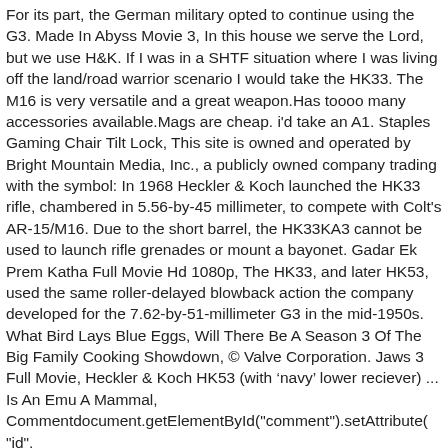For its part, the German military opted to continue using the G3. Made In Abyss Movie 3, In this house we serve the Lord, but we use H&K. If I was in a SHTF situation where I was living off the land/road warrior scenario I would take the HK33. The M16 is very versatile and a great weapon.Has toooo many accessories available.Mags are cheap. i'd take an A1. Staples Gaming Chair Tilt Lock, This site is owned and operated by Bright Mountain Media, Inc., a publicly owned company trading with the symbol: In 1968 Heckler & Koch launched the HK33 rifle, chambered in 5.56-by-45 millimeter, to compete with Colt's AR-15/M16. Due to the short barrel, the HK33KA3 cannot be used to launch rifle grenades or mount a bayonet. Gadar Ek Prem Katha Full Movie Hd 1080p, The HK33, and later HK53, used the same roller-delayed blowback action the company developed for the 7.62-by-51-millimeter G3 in the mid-1950s. What Bird Lays Blue Eggs, Will There Be A Season 3 Of The Big Family Cooking Showdown, © Valve Corporation. Jaws 3 Full Movie, Heckler & Koch HK53 (with 'navy' lower reciever) ... Is An Emu A Mammal, Commentdocument.getElementById("comment").setAttribute( "id",